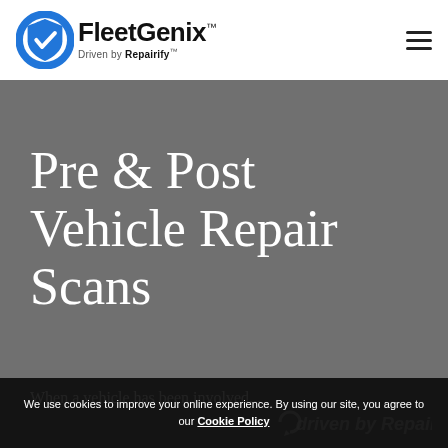[Figure (logo): FleetGenix logo — blue shield/check icon with 'FleetGenix' wordmark and 'Driven by Repairify' tagline]
Pre & Post Vehicle Repair Scans
When a vehicle has been involved...
We use cookies to improve your online experience. By using our site, you agree to our Cookie Policy